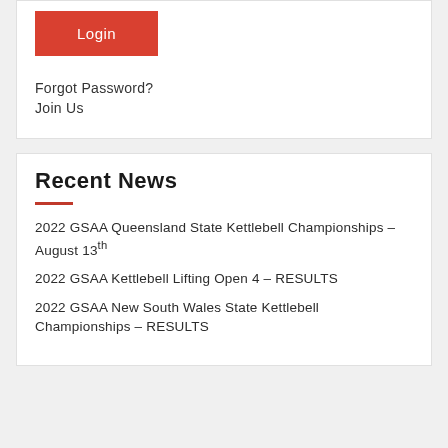[Figure (other): Red Login button]
Forgot Password?
Join Us
Recent News
2022 GSAA Queensland State Kettlebell Championships – August 13th
2022 GSAA Kettlebell Lifting Open 4 – RESULTS
2022 GSAA New South Wales State Kettlebell Championships – RESULTS